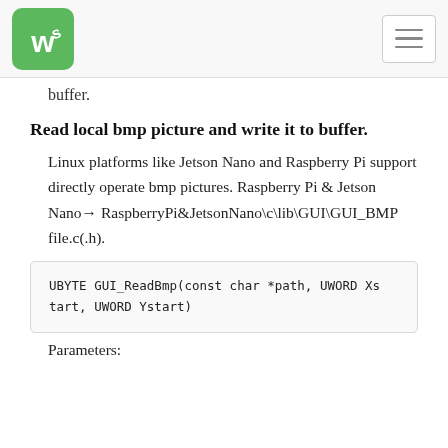Waveshare logo and navigation menu
buffer.
Read local bmp picture and write it to buffer.
Linux platforms like Jetson Nano and Raspberry Pi support directly operate bmp pictures. Raspberry Pi & Jetson Nano→ RaspberryPi&JetsonNano\c\lib\GUI\GUI_BMPfile.c(.h).
UBYTE GUI_ReadBmp(const char *path, UWORD Xstart, UWORD Ystart)
Parameters: